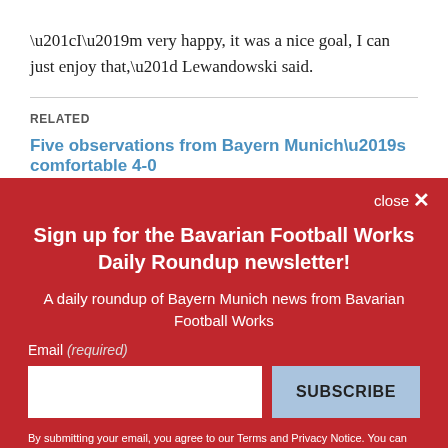“I’m very happy, it was a nice goal, I can just enjoy that,” Lewandowski said.
RELATED
Five observations from Bayern Munich’s comfortable 4-0
Sign up for the Bavarian Football Works Daily Roundup newsletter!
A daily roundup of Bayern Munich news from Bavarian Football Works
Email (required)
By submitting your email, you agree to our Terms and Privacy Notice. You can opt out at any time. This site is protected by reCAPTCHA and the Google Privacy Policy and Terms of Service apply.